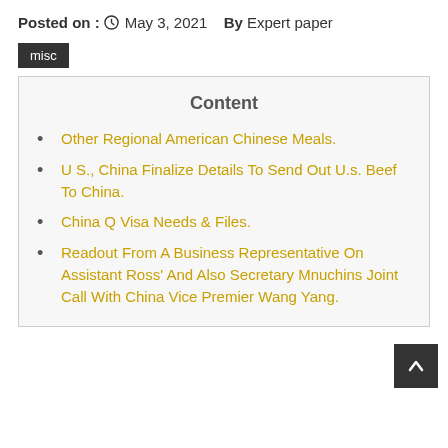Posted on : May 3, 2021  By Expert paper
misc
Content
Other Regional American Chinese Meals.
U S., China Finalize Details To Send Out U.s. Beef To China.
China Q Visa Needs & Files.
Readout From A Business Representative On Assistant Ross' And Also Secretary Mnuchins Joint Call With China Vice Premier Wang Yang.